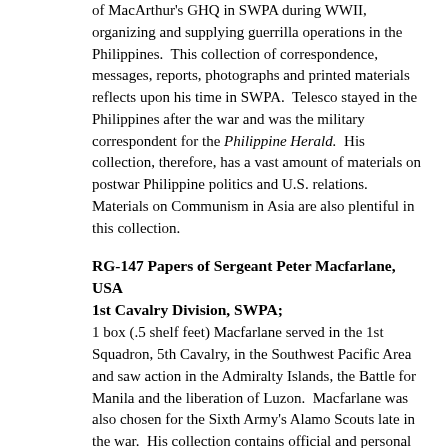of MacArthur's GHQ in SWPA during WWII, organizing and supplying guerrilla operations in the Philippines. This collection of correspondence, messages, reports, photographs and printed materials reflects upon his time in SWPA. Telesco stayed in the Philippines after the war and was the military correspondent for the Philippine Herald. His collection, therefore, has a vast amount of materials on postwar Philippine politics and U.S. relations. Materials on Communism in Asia are also plentiful in this collection.
RG-147 Papers of Sergeant Peter Macfarlane, USA 1st Cavalry Division, SWPA;
1 box (.5 shelf feet) Macfarlane served in the 1st Squadron, 5th Cavalry, in the Southwest Pacific Area and saw action in the Admiralty Islands, the Battle for Manila and the liberation of Luzon. Macfarlane was also chosen for the Sixth Army's Alamo Scouts late in the war. His collection contains official and personal correspondence, journals, photographs and the printed materials concerning the 1st Cavalry Division in World War II and Occupation of Japan.
Accession #8307.000
RG-148 Papers of Joyce Brady Velde and the Brady Family Residents of Manila during Japanese Occupation, 1942-1945;
2 boxes (2.5 shelf feet) Frank W. Brady was an attorney and